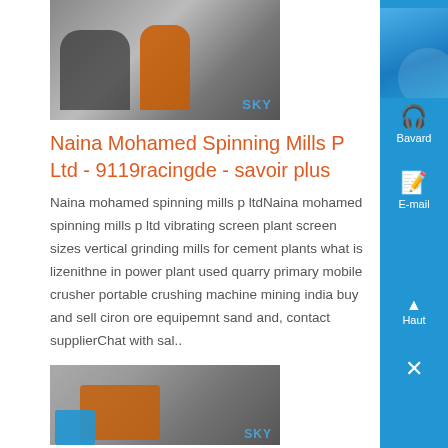[Figure (photo): Two workers/people near industrial equipment or window, one in orange safety gear; SKY watermark visible]
Naina Mohamed Spinning Mills P Ltd - 9119racingde - savoir plus
Naina mohamed spinning mills p ltdNaina mohamed spinning mills p ltd vibrating screen plant screen sizes vertical grinding mills for cement plants what is lizenithne in power plant used quarry primary mobile crusher portable crushing machine mining india buy and sell ciron ore equipemnt sand and, contact supplierChat with sal..
[Figure (photo): Industrial mining/crushing machinery at a worksite; SKY watermark visible]